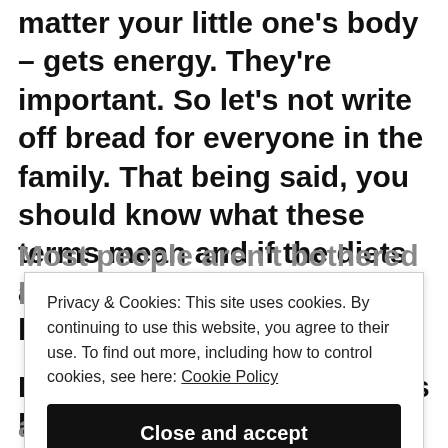matter your little one’s body – gets energy. They’re important. So let’s not write off bread for everyone in the family. That being said, you should know what these terms mean and if the diets are a fit for you and your little ones.
For example, Gluten free has become sort of a buzz topic.
Most people aren’t bothered by gluten but some
Privacy & Cookies: This site uses cookies. By continuing to use this website, you agree to their use. To find out more, including how to control cookies, see here: Cookie Policy
Close and accept
and containing gluten. The topic is a technical